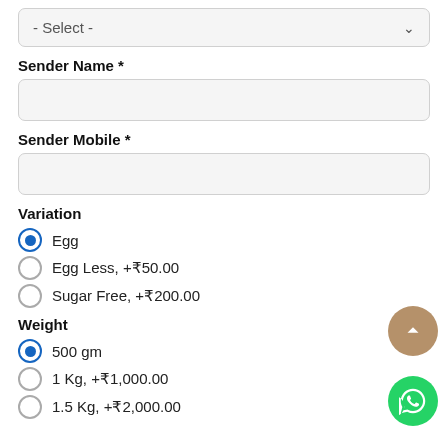- Select -
Sender Name *
Sender Mobile *
Variation
Egg (selected)
Egg Less, +₹50.00
Sugar Free, +₹200.00
Weight
500 gm (selected)
1 Kg, +₹1,000.00
1.5 Kg, +₹2,000.00